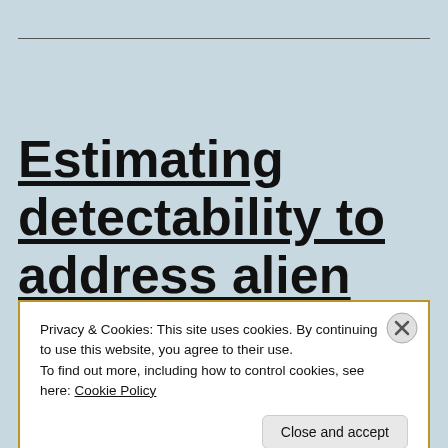Estimating detectability to address alien plant incursions
Privacy & Cookies: This site uses cookies. By continuing to use this website, you agree to their use. To find out more, including how to control cookies, see here: Cookie Policy
Close and accept